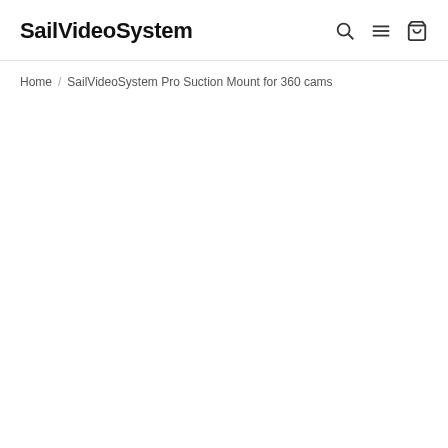SailVideoSystem
Home / SailVideoSystem Pro Suction Mount for 360 cams